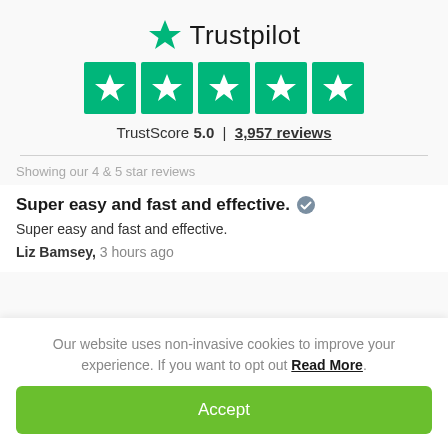[Figure (logo): Trustpilot logo with green star and 'Trustpilot' text]
[Figure (infographic): Five green star rating boxes displayed in a row]
TrustScore 5.0  |  3,957 reviews
Showing our 4 & 5 star reviews
Super easy and fast and effective.
Super easy and fast and effective.
Liz Bamsey, 3 hours ago
Our website uses non-invasive cookies to improve your experience. If you want to opt out Read More.
Accept